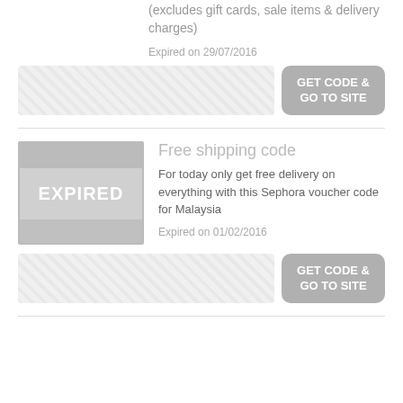(excludes gift cards, sale items & delivery charges)
Expired on 29/07/2016
[Figure (other): Redacted coupon code bar with GET CODE & GO TO SITE button]
[Figure (other): Expired badge image placeholder]
Free shipping code
For today only get free delivery on everything with this Sephora voucher code for Malaysia
Expired on 01/02/2016
[Figure (other): Redacted coupon code bar with GET CODE & GO TO SITE button]